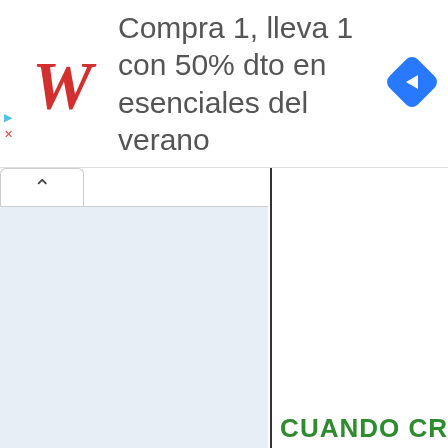[Figure (screenshot): Walgreens advertisement banner: Walgreens cursive W logo in red, text 'Compra 1, lleva 1 con 50% dto en esenciales del verano', blue navigation diamond icon, play and close icons on left side]
CUANDO CR